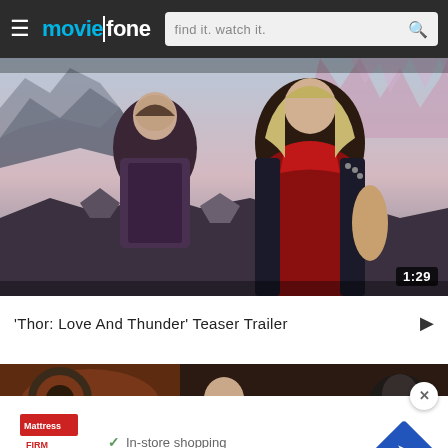moviefone — find it. watch it.
[Figure (screenshot): Movie still from Thor: Love And Thunder showing two characters facing each other in a fantasy landscape with rocks and crystals. Duration badge shows 1:29.]
'Thor: Love And Thunder' Teaser Trailer
[Figure (screenshot): Second video thumbnail showing a dark scene with a person visible. Overlaid advertisement for Mattress Firm showing: In-store shopping (checkmark), In-store pickup (checkmark), Delivery (checkmark), with blue diamond arrow icon and close X button.]